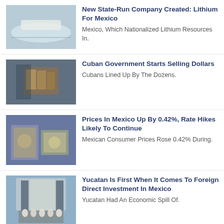[Figure (photo): White lithium mineral salt deposits near water]
New State-Run Company Created: Lithium For Mexico
Mexico, Which Nationalized Lithium Resources In.
[Figure (photo): Hands holding cash currency bills]
Cuban Government Starts Selling Dollars
Cubans Lined Up By The Dozens.
[Figure (photo): Hands holding Mexican peso and dollar bills]
Prices In Mexico Up By 0.42%, Rate Hikes Likely To Continue
Mexican Consumer Prices Rose 0.42% During.
[Figure (photo): Industrial building with workers in blue uniforms outside]
Yucatan Is First When It Comes To Foreign Direct Investment In Mexico
Yucatan Had An Economic Spill Of.
[Figure (photo): Street scene with a man's face visible]
One More Journalist Is Murdered In Mexico